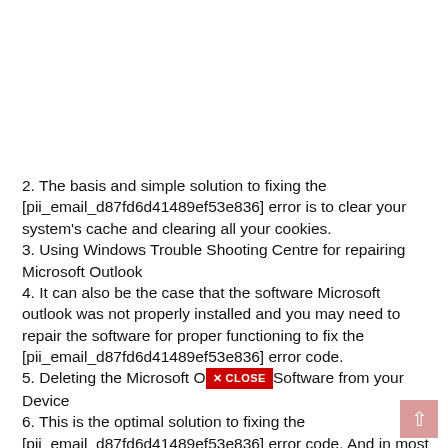2. The basis and simple solution to fixing the [pii_email_d87fd6d41489ef53e836] error is to clear your system's cache and clearing all your cookies.
3. Using Windows Trouble Shooting Centre for repairing Microsoft Outlook
4. It can also be the case that the software Microsoft outlook was not properly installed and you may need to repair the software for proper functioning to fix the [pii_email_d87fd6d41489ef53e836] error code.
5. Deleting the Microsoft Outlook Software from your Device
6. This is the optimal solution to fixing the [pii_email_d87fd6d41489ef53e836] error code. And in most of the cases this will work perfectly. You may first complete delete and uninstall the software from your personal